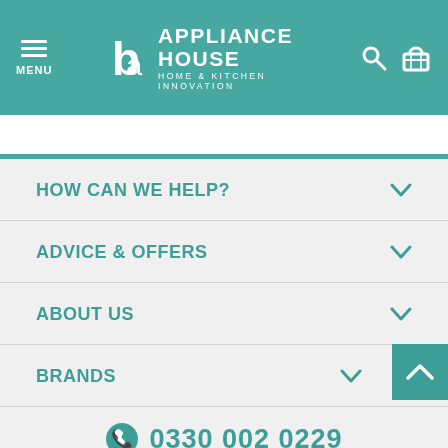MENU | APPLIANCE HOUSE HOME & KITCHEN INNOVATION
HOW CAN WE HELP?
ADVICE & OFFERS
ABOUT US
BRANDS
0330 002 0229